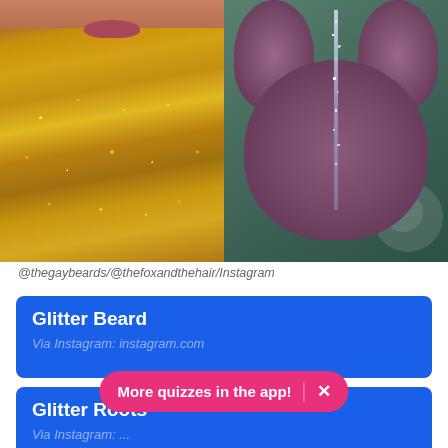[Figure (photo): Two side-by-side photos: left shows a close-up of a face with a glitter-covered gold beard; right shows the back of a head with purple hair styled in space buns with silver glitter along the part line, against a floral background.]
@thegaybeards/@thefoxandthehair/Instagram
Glitter Beard
Via Instagram: instagram.com
Glitter Roots
Via Instagram: ...
More quizzes in the app! ×